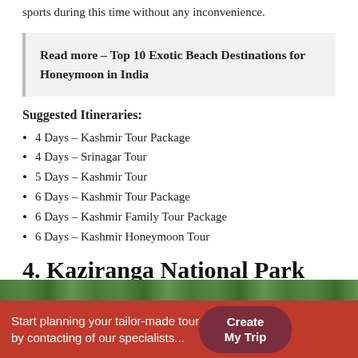sports during this time without any inconvenience.
Read more – Top 10 Exotic Beach Destinations for Honeymoon in India
Suggested Itineraries:
4 Days – Kashmir Tour Package
4 Days – Srinagar Tour
5 Days – Kashmir Tour
6 Days – Kashmir Tour Package
6 Days – Kashmir Family Tour Package
6 Days – Kashmir Honeymoon Tour
4. Kaziranga National Park
[Figure (photo): Partial view of Kaziranga National Park landscape with green trees]
Start planning your tailor-made tour by contacting of our specialists...